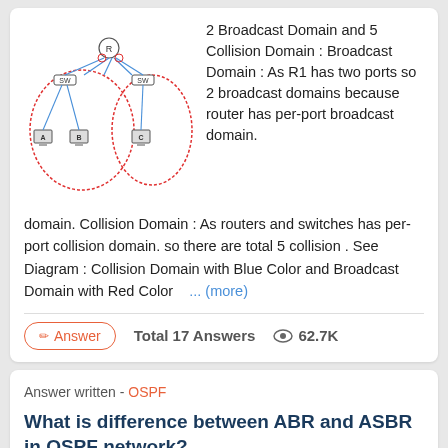[Figure (network-diagram): Network diagram showing two broadcast domains (circled in red) with switches connected to computers labeled A, B, and C, and a router at the top. Blue lines indicate collision domains.]
2 Broadcast Domain and 5 Collision Domain : Broadcast Domain : As R1 has two ports so 2 broadcast domains because router has per-port broadcast domain. Collision Domain : As routers and switches has per-port collision domain. so there are total 5 collision . See Diagram : Collision Domain with Blue Color and Broadcast Domain with Red Color    ... (more)
Answer   Total 17 Answers   62.7K
Answer written - OSPF
What is difference between ABR and ASBR in OSPF network?